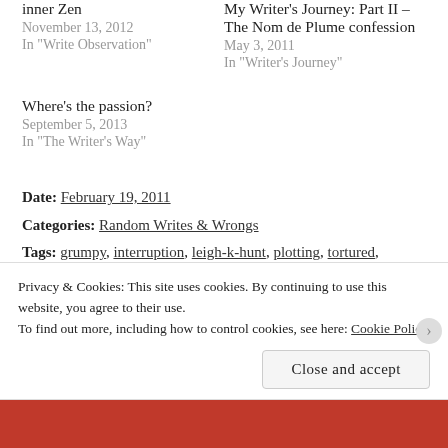inner Zen
November 13, 2012
In "Write Observation"
My Writer's Journey: Part II – The Nom de Plume confession
May 3, 2011
In "Writer's Journey"
Where's the passion?
September 5, 2013
In "The Writer's Way"
Date: February 19, 2011
Categories: Random Writes & Wrongs
Tags: grumpy, interruption, leigh-k-hunt, plotting, tortured, writing
Privacy & Cookies: This site uses cookies. By continuing to use this website, you agree to their use.
To find out more, including how to control cookies, see here: Cookie Policy
Close and accept